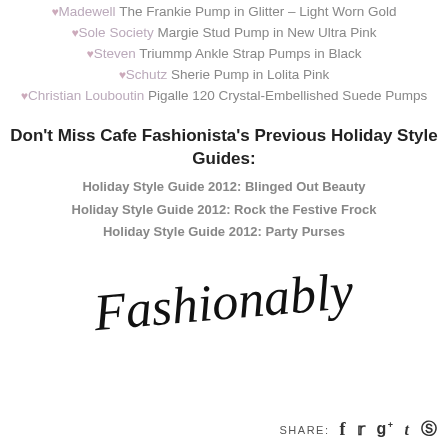♥ Madewell The Frankie Pump in Glitter – Light Worn Gold
♥ Sole Society Margie Stud Pump in New Ultra Pink
♥ Steven Triummp Ankle Strap Pumps in Black
♥ Schutz Sherie Pump in Lolita Pink
♥ Christian Louboutin Pigalle 120 Crystal-Embellished Suede Pumps
Don't Miss Cafe Fashionista's Previous Holiday Style Guides:
Holiday Style Guide 2012: Blinged Out Beauty
Holiday Style Guide 2012: Rock the Festive Frock
Holiday Style Guide 2012: Party Purses
[Figure (illustration): Handwritten script signature reading 'Fashionably yours!']
SHARE: